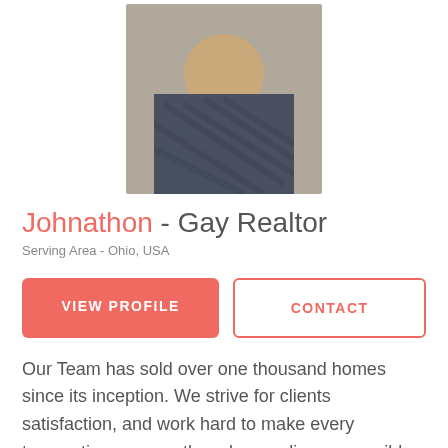[Figure (photo): Headshot photo of a young man with a beard, smiling, wearing a plaid shirt]
Johnathon - Gay Realtor
Serving Area - Ohio, USA
VIEW PROFILE
CONTACT
Our Team has sold over one thousand homes since its inception. We strive for clients satisfaction, and work hard to make every transaction as smooth and rewarding as possible. We thrive on finding our clients there